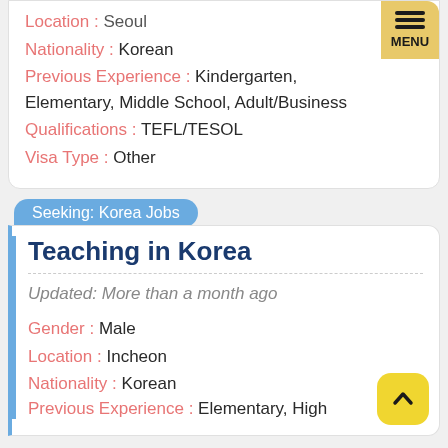Location : Seoul
Nationality : Korean
Previous Experience : Kindergarten, Elementary, Middle School, Adult/Business
Qualifications : TEFL/TESOL
Visa Type : Other
Seeking: Korea Jobs
Teaching in Korea
Updated: More than a month ago
Gender : Male
Location : Incheon
Nationality : Korean
Previous Experience : Elementary, High